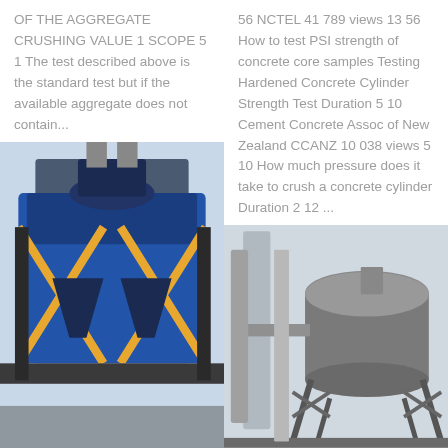OF THE AGGREGATE CRUSHING VALUE 1 SCOPE 5 1 The test described above is the standard test but if the available aggregate does not contain...
56 NCTEL 41 789 views 13 56 How to test PSI strength of concrete core samples Testing Hardened Concrete Cylinder Strength Test Duration 5 10 Cement Concrete Assoc of New Zealand CCANZ 10 038 views 5 10 How much pressure does it take to crush a concrete cylinder Duration 2 12 ...
[Figure (photo): Industrial aggregate crushing or processing facility showing blue metallic structure with cross-bracing steel framework and industrial equipment, viewed from below against a light sky.]
[Figure (photo): Industrial facility showing a large cylindrical silo or tank structure on a steel lattice framework, with tall vertical structures and industrial piping, viewed outdoors.]